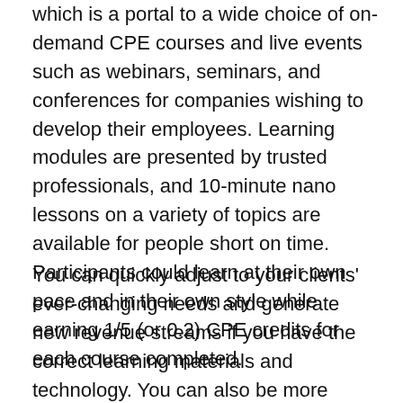which is a portal to a wide choice of on-demand CPE courses and live events such as webinars, seminars, and conferences for companies wishing to develop their employees. Learning modules are presented by trusted professionals, and 10-minute nano lessons on a variety of topics are available for people short on time. Participants could learn at their own pace and in their own style while earning 1/5 (or 0.2) CPE credits for each course completed.
You can quickly adjust to your clients' ever-changing needs and generate new revenue streams if you have the correct learning materials and technology. You can also be more proactive in asking diagnostic inquiries to help your clients identify potential problems. When you can combine market knowledge with technical competence in new rules and best practises, you'll be